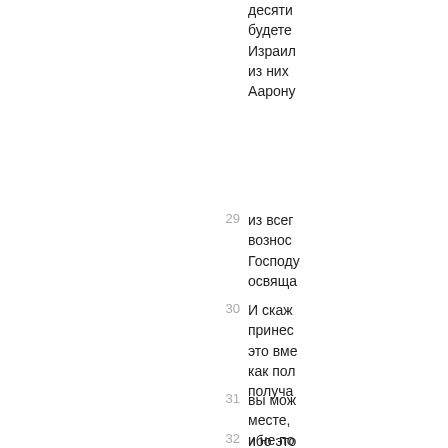десяти
будете
Израил
из них
Аарону
29 из всег
вознос
Господу
освяща
30 И скаж
принес
это вме
как пол
получа
31 вы мож
месте,
ибо это
ваши в
32 и не по